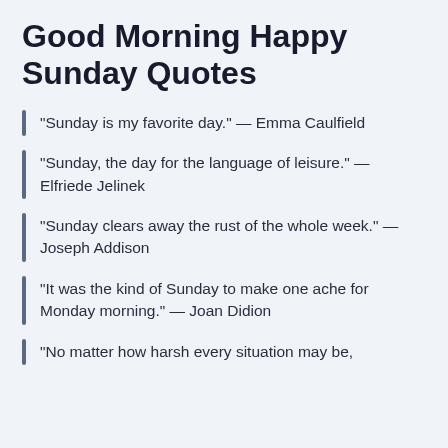Good Morning Happy Sunday Quotes
“Sunday is my favorite day.” — Emma Caulfield
“Sunday, the day for the language of leisure.” — Elfriede Jelinek
“Sunday clears away the rust of the whole week.” — Joseph Addison
“It was the kind of Sunday to make one ache for Monday morning.” — Joan Didion
“No matter how harsh every situation may be,